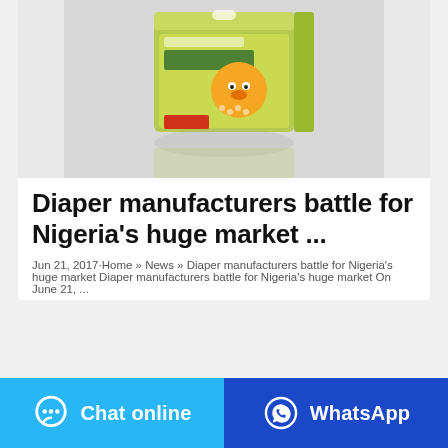[Figure (photo): Product photo of Bubu Bear Baby Dry Diapers box with cartoon bear character, green packaging, reflected on surface]
Diaper manufacturers battle for Nigeria's huge market ...
Jun 21, 2017·Home » News » Diaper manufacturers battle for Nigeria's huge market Diaper manufacturers battle for Nigeria's huge market On June 21, ...